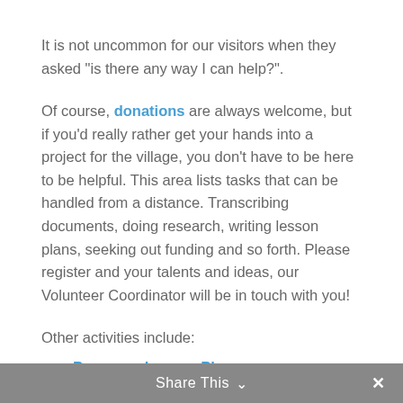It is not uncommon for our visitors when they asked “is there any way I can help?”.
Of course, donations are always welcome, but if you’d really rather get your hands into a project for the village, you don’t have to be here to be helpful. This area lists tasks that can be handled from a distance. Transcribing documents, doing research, writing lesson plans, seeking out funding and so forth. Please register and your talents and ideas, our Volunteer Coordinator will be in touch with you!
Other activities include:
Prepare a Lesson Plan
Audit and Report on Road Signage
Transription Services
Share This ∨ ×